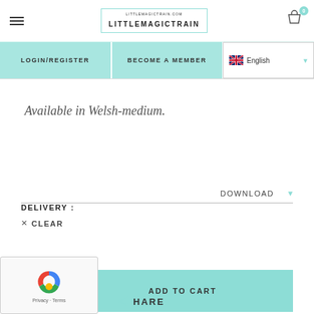LITTLEMAGICTRAIN
LOGIN/REGISTER | BECOME A MEMBER | English
Available in Welsh-medium.
DELIVERY: DOWNLOAD ▾ × CLEAR
1 ADD TO CART
SHARE